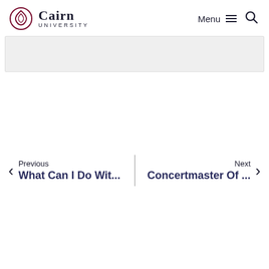Cairn University — Menu / Search navigation
[Figure (other): Gray banner/image placeholder box]
Previous
What Can I Do Wit...
Next
Concertmaster Of ...